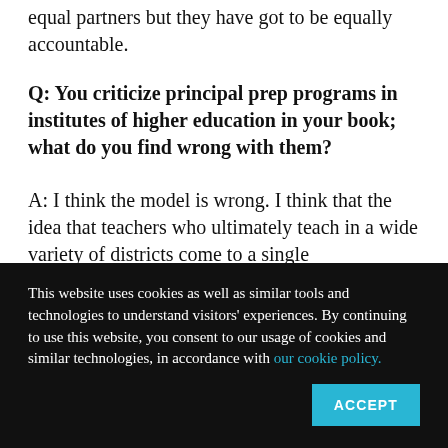equal partners but they have got to be equally accountable.
Q: You criticize principal prep programs in institutes of higher education in your book; what do you find wrong with them?
A: I think the model is wrong. I think that the idea that teachers who ultimately teach in a wide variety of districts come to a single
This website uses cookies as well as similar tools and technologies to understand visitors' experiences. By continuing to use this website, you consent to our usage of cookies and similar technologies, in accordance with our cookie policy.